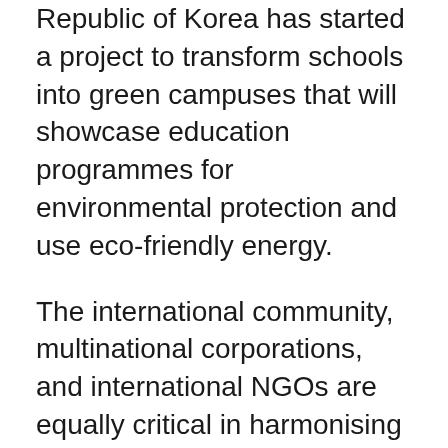Republic of Korea has started a project to transform schools into green campuses that will showcase education programmes for environmental protection and use eco-friendly energy.
The international community, multinational corporations, and international NGOs are equally critical in harmonising and providing this support. The Paris Agreement calls for its signatories to undertake educational and public awareness campaigns on climate change, and ensure public participation in programmes to achieve its targets.
The Asian Development Bank (ADB) launched the Climate Change Fund in 2008 and has since actively engaged to assist its ...